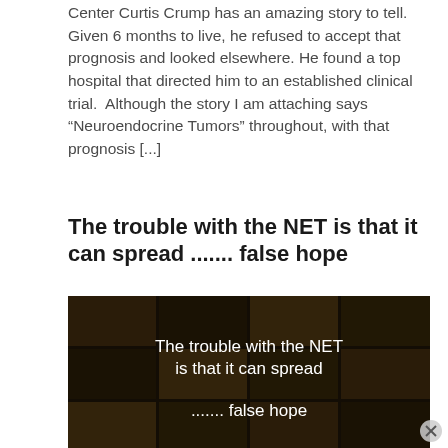Center Curtis Crump has an amazing story to tell.  Given 6 months to live, he refused to accept that prognosis and looked elsewhere. He found a top hospital that directed him to an established clinical trial.  Although the story I am attaching says “Neuroendocrine Tumors” throughout, with that prognosis [...]
The trouble with the NET is that it can spread ....... false hope
[Figure (screenshot): Dark video thumbnail with text overlay reading 'The trouble with the NET is that it can spread ....... false hope' in white text on a dark grid/panel background]
Advertisements
[Figure (photo): Ulta Beauty advertisement banner showing makeup/cosmetics imagery with 'SHOP NOW' button]